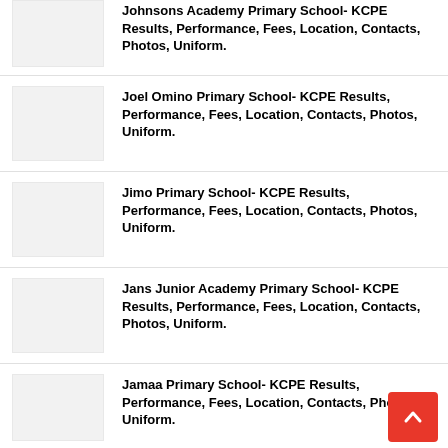Johnsons Academy Primary School- KCPE Results, Performance, Fees, Location, Contacts, Photos, Uniform.
Joel Omino Primary School- KCPE Results, Performance, Fees, Location, Contacts, Photos, Uniform.
Jimo Primary School- KCPE Results, Performance, Fees, Location, Contacts, Photos, Uniform.
Jans Junior Academy Primary School- KCPE Results, Performance, Fees, Location, Contacts, Photos, Uniform.
Jamaa Primary School- KCPE Results, Performance, Fees, Location, Contacts, Photos, Uniform.